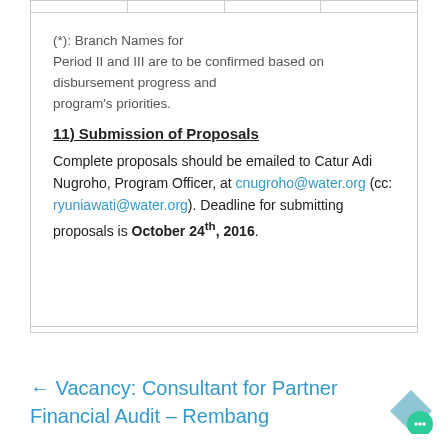(*): Branch Names for Period II and III are to be confirmed based on disbursement progress and program's priorities.
Submission of Proposals
Complete proposals should be emailed to Catur Adi Nugroho, Program Officer, at cnugroho@water.org (cc: ryuniawati@water.org). Deadline for submitting proposals is October 24th, 2016.
← Vacancy: Consultant for Partner Financial Audit – Rembang